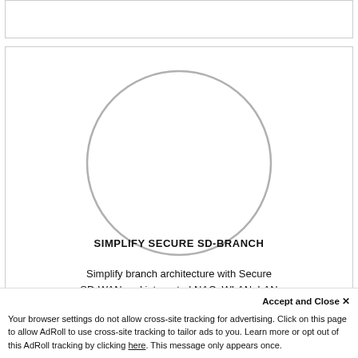[Figure (other): Empty white box with border at top of page]
[Figure (schematic): White box with a large light gray circle outline in the center, representing a network or architecture diagram placeholder]
SIMPLIFY SECURE SD-BRANCH
Simplify branch architecture with Secure SD-WAN and integrated NAC, WLAN, LAN and LTE/4G/5G. All are centrally man...
Accept and Close ✕
Your browser settings do not allow cross-site tracking for advertising. Click on this page to allow AdRoll to use cross-site tracking to tailor ads to you. Learn more or opt out of this AdRoll tracking by clicking here. This message only appears once.